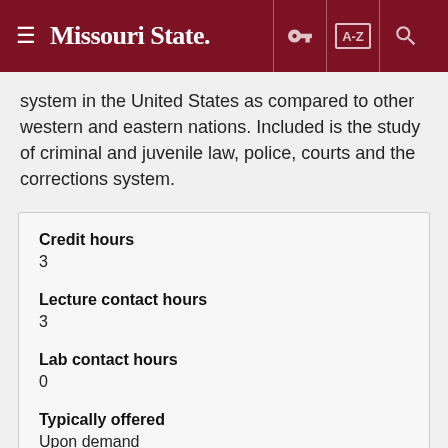Missouri State
system in the United States as compared to other western and eastern nations. Included is the study of criminal and juvenile law, police, courts and the corrections system.
| Credit hours | 3 |
| Lecture contact hours | 3 |
| Lab contact hours | 0 |
| Typically offered | Upon demand |